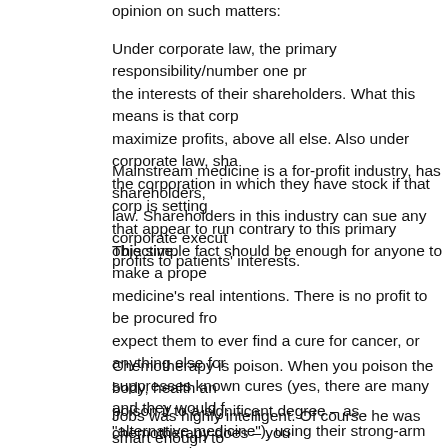opinion on such matters:
Under corporate law, the primary responsibility/number one priority of corporations is to act in the interests of their shareholders. What this means is that corporations are required by law to maximize profits, above all else. Also under corporate law, shareholders can sue executives of the corporation in which they have stock if that corp is setting policies and making decisions that appear to run contrary to this primary objective.
Mainstream medicine is a for-profit industry, has shareholders, and is subject to corporate law. Shareholders in this industry can sue any corporate executives who subordinate company profits to patients' interests.
This simple fact should be enough for anyone to make a proper assessment of mainstream medicine's real intentions. There is no profit to be procured from curing people, so don't expect them to ever find a cure for cancer, or anything else for that matter. Big Pharma also suppresses known cures (yes, there are many and they would fall under the category of "alternative medicine"), using their strong-arm gestapo – the FDA. The reason why the FDA complies, pharma pays their salaries along with giving them lucrative jobs in the industry once they leave the FDA.
Chemotherapy is poison. When you poison the body, health and the immune system decline. If you poison it to a significant degree – as chemotherapy does – you
Jobs was highly intelligent. Of course he was smart enough to realize his mistake eventually. That he finally resorted to such measures is sad, really. The act of doing so is highly indicative of a person who has reached a state of desperation in